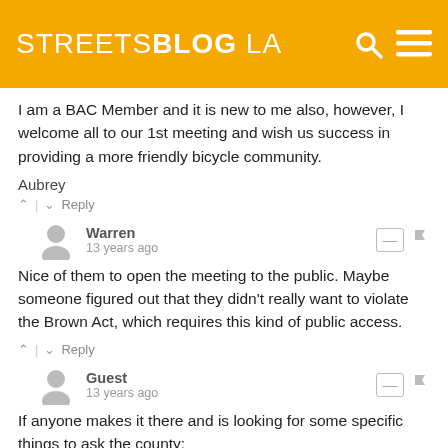STREETSBLOG LA
I am a BAC Member and it is new to me also, however, I welcome all to our 1st meeting and wish us success in providing a more friendly bicycle community.
Aubrey
↑ | ↓  Reply
Warren
13 years ago
Nice of them to open the meeting to the public. Maybe someone figured out that they didn't really want to violate the Brown Act, which requires this kind of public access.
↑ | ↓  Reply
Guest
13 years ago
If anyone makes it there and is looking for some specific things to ask the county:
(1) Provisions for a countywide cyclist count (650+...